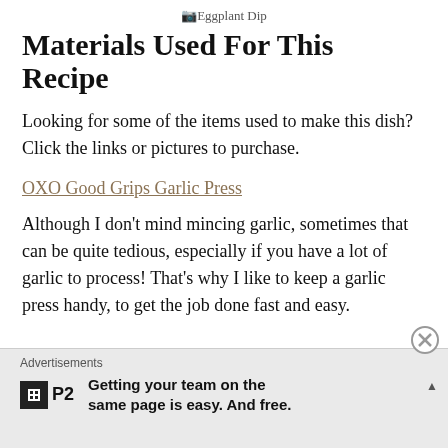Eggplant Dip
Materials Used For This Recipe
Looking for some of the items used to make this dish? Click the links or pictures to purchase.
OXO Good Grips Garlic Press
Although I don’t mind mincing garlic, sometimes that can be quite tedious, especially if you have a lot of garlic to process! That’s why I like to keep a garlic press handy, to get the job done fast and easy.
Advertisements
Getting your team on the same page is easy. And free.